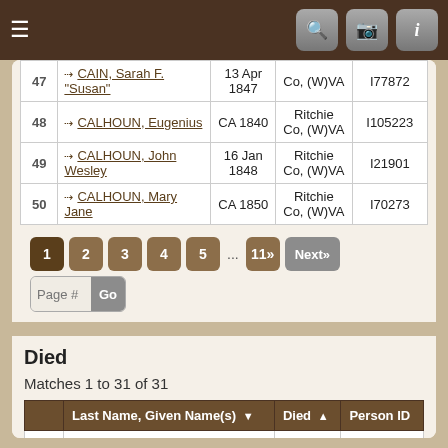Navigation bar with menu, search, camera, and info icons
| # | Last Name, Given Name(s) | Born | Location | Person ID |
| --- | --- | --- | --- | --- |
| 47 | CAIN, Sarah F. "Susan" | 13 Apr 1847 | Co, (W)VA | I77872 |
| 48 | CALHOUN, Eugenius | CA 1840 | Ritchie Co, (W)VA | I105223 |
| 49 | CALHOUN, John Wesley | 16 Jan 1848 | Ritchie Co, (W)VA | I21901 |
| 50 | CALHOUN, Mary Jane | CA 1850 | Ritchie Co, (W)VA | I70273 |
Pagination: 1 2 3 4 5 ... 11» Next» Page # Go
Died
Matches 1 to 31 of 31
|  | Last Name, Given Name(s) | Died | Person ID |
| --- | --- | --- | --- |
|  |  | Ritchie |  |